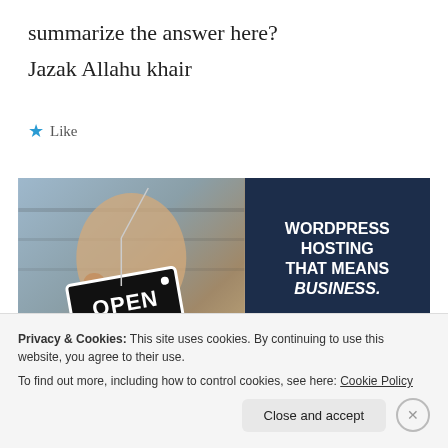summarize the answer here? Jazak Allahu khair
★ Like
[Figure (photo): Advertisement for WordPress Hosting featuring a person holding an OPEN sign in a shop, with the text 'WORDPRESS HOSTING THAT MEANS BUSINESS.' on a dark navy panel]
Privacy & Cookies: This site uses cookies. By continuing to use this website, you agree to their use.
To find out more, including how to control cookies, see here: Cookie Policy
Close and accept